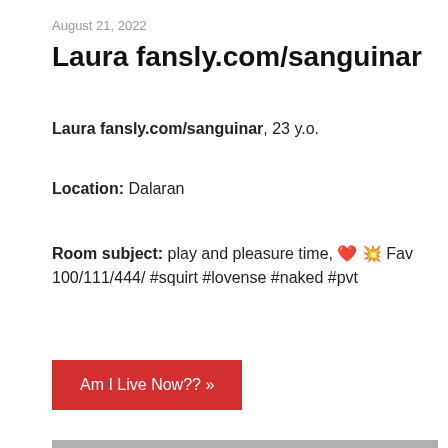August 21, 2022
Laura fansly.com/sanguinar
Laura fansly.com/sanguinar, 23 y.o.
Location: Dalaran
Room subject: play and pleasure time, 💝💥 Fav 100/111/444/ #squirt #lovense #naked #pvt
Am I Live Now?? »
[Figure (photo): Gray placeholder image with faint watermark or graphic at the bottom]